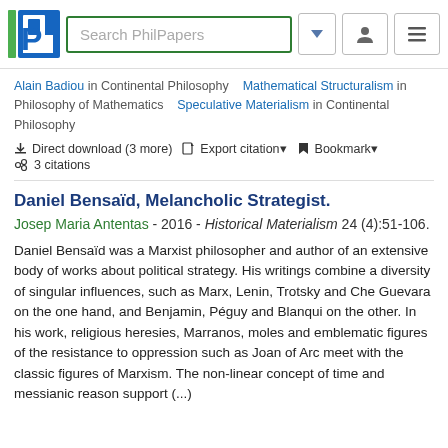[Figure (logo): PhilPapers logo with search bar, dropdown arrow, user icon, and menu icon]
Alain Badiou in Continental Philosophy  Mathematical Structuralism in Philosophy of Mathematics  Speculative Materialism in Continental Philosophy
Direct download (3 more)  Export citation  Bookmark  3 citations
Daniel Bensaïd, Melancholic Strategist.
Josep Maria Antentas - 2016 - Historical Materialism 24 (4):51-106.
Daniel Bensaïd was a Marxist philosopher and author of an extensive body of works about political strategy. His writings combine a diversity of singular influences, such as Marx, Lenin, Trotsky and Che Guevara on the one hand, and Benjamin, Péguy and Blanqui on the other. In his work, religious heresies, Marranos, moles and emblematic figures of the resistance to oppression such as Joan of Arc meet with the classic figures of Marxism. The non-linear concept of time and messianic reason support (...)